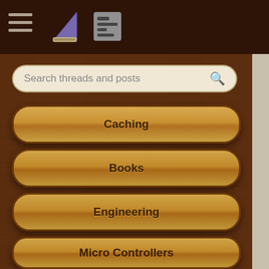Forum navigation header with hamburger menu, pie icon, list icon, and Register button
Search threads and posts
Caching
Books
Engineering
Micro Controllers
OS
Languages
Paradigms
Note: Remember to roll
9 replies
Only fun forwards for fu
414 replies  1,2,3 <... <9,1
What it is ??
2 replies
Lady Chatterly's Lover (ra
9 replies
Just registered for SCJP 1
5 replies